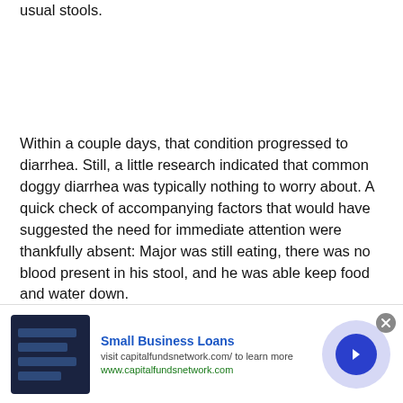usual stools.
Within a couple days, that condition progressed to diarrhea. Still, a little research indicated that common doggy diarrhea was typically nothing to worry about. A quick check of accompanying factors that would have suggested the need for immediate attention were thankfully absent: Major was still eating, there was no blood present in his stool, and he was able keep food and water down.
[Figure (screenshot): Advertisement banner for Small Business Loans from capitalfundsnetwork.com, with dark navy image thumbnail, bold blue title, subtext, green URL, and a blue circular arrow button on a light purple circle background. A grey close (X) button appears at the top right.]